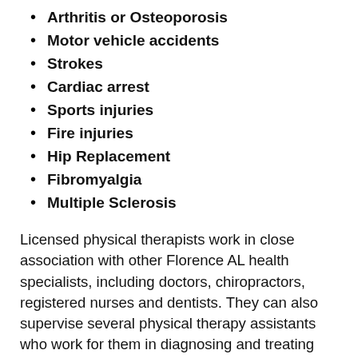Arthritis or Osteoporosis
Motor vehicle accidents
Strokes
Cardiac arrest
Sports injuries
Fire injuries
Hip Replacement
Fibromyalgia
Multiple Sclerosis
Licensed physical therapists work in close association with other Florence AL health specialists, including doctors, chiropractors, registered nurses and dentists. They can also supervise several physical therapy assistants who work for them in diagnosing and treating their patients. Something to keep in mind for anyone considering getting into the physical therapy profession, it is quite physically demanding. Physical therapists regularly lift heavy equipment as well as patients